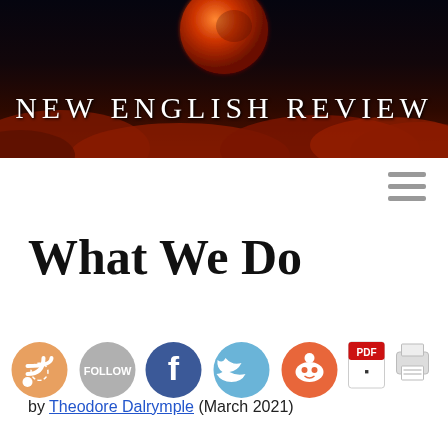[Figure (illustration): New English Review banner header with red moon against dark night sky, red clouds, and site title text 'NEW ENGLISH REVIEW']
What We Do
[Figure (infographic): Row of social sharing icons: RSS (orange), Follow (grey), Facebook (blue), Twitter (light blue), Reddit (orange), PDF (red), Print (grey)]
by Theodore Dalrymple (March 2021)